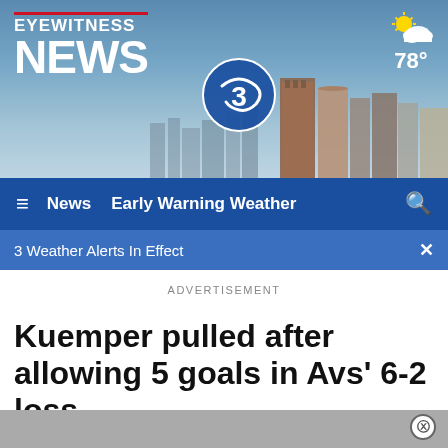[Figure (screenshot): Eyewitness News 3 website header banner with city skyline background, logo with EYEWITNESS NEWS 3 branding, and weather widget showing partly cloudy 78 degrees]
≡  News  Early Warning Weather  🔍
3 Weather Alerts In Effect  ×
ADVERTISEMENT
Kuemper pulled after allowing 5 goals in Avs' 6-2 loss